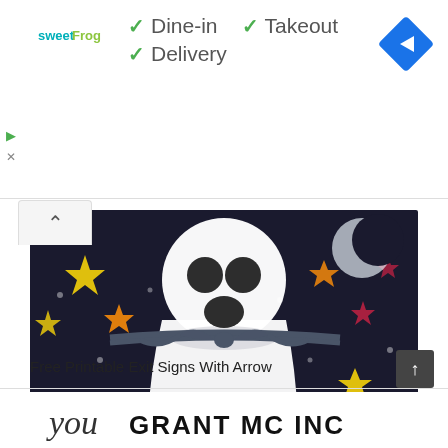[Figure (logo): sweetFrog logo in teal and green text]
✓ Dine-in  ✓ Takeout
✓ Delivery
[Figure (illustration): Blue diamond-shaped navigation/directions icon with white arrow pointing right]
[Figure (photo): Halloween ghost craft made from white fabric/tissue with dark oval eyes and mouth, tied with a dark ribbon bow, against a dark background with colorful stars and a moon]
Free Printable Exit Signs With Arrow
[Figure (illustration): Cursive and block letter text reading 'you GRANT MC INC']